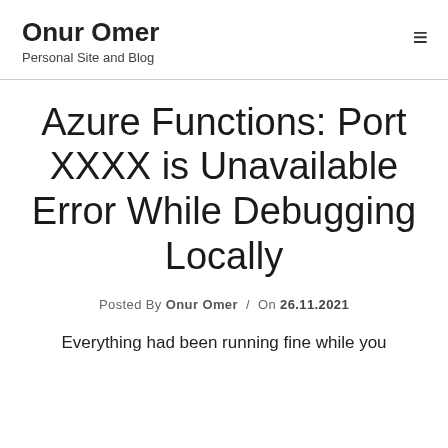Onur Omer
Personal Site and Blog
Azure Functions: Port XXXX is Unavailable Error While Debugging Locally
Posted By Onur Omer / On 26.11.2021
Everything had been running fine while you